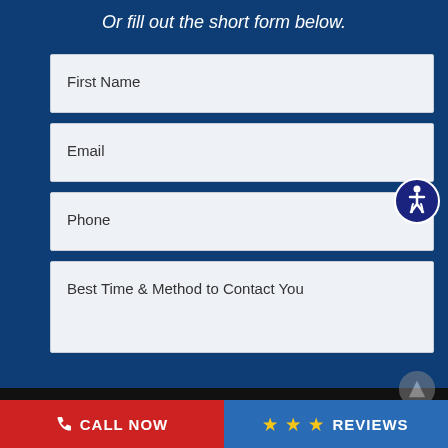Or fill out the short form below.
First Name
Email
Phone
Best Time & Method to Contact You
CALL NOW
REVIEWS